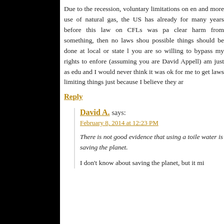Due to the recession, voluntary limitations on en... and more use of natural gas, the US has already... for many years before this law on CFLs was pa... clear harm from something, then no laws shou... possible things should be done at local or state l... you are so willing to bypass my rights to enfore... (assuming you are David Appell) am just as edu... and I would never think it was ok for me to get ... laws limiting things just because I believe they ar...
Reply
David A. says:
February 8, 2014 at 12:23 PM
There is not good evidence that using a toile... water is saving the planet.
I don't know about saving the planet, but it mi...